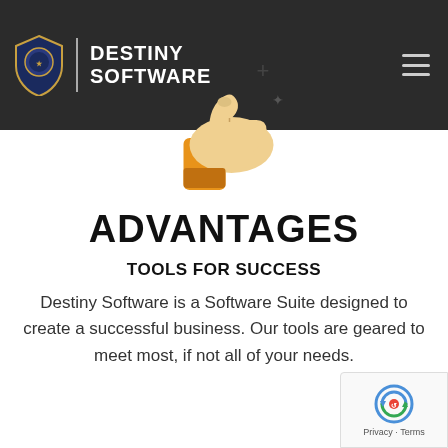DESTINY SOFTWARE
[Figure (illustration): Thumbs-up emoji/icon with orange sleeve and dark hand, with sparkle/plus decorations on a dark background]
ADVANTAGES
TOOLS FOR SUCCESS
Destiny Software is a Software Suite designed to create a successful business. Our tools are geared to meet most, if not all of your needs.
[Figure (logo): Google reCAPTCHA badge with spinning arrows icon and 'Privacy - Terms' text]